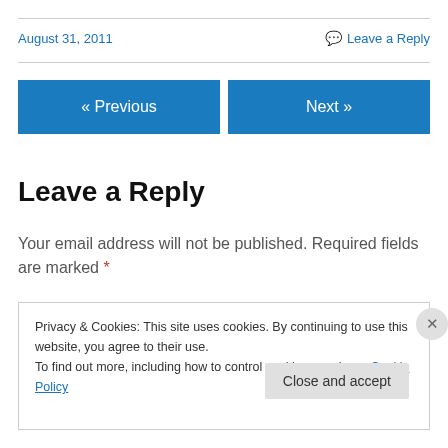August 31, 2011
💬 Leave a Reply
« Previous
Next »
Leave a Reply
Your email address will not be published. Required fields are marked *
Privacy & Cookies: This site uses cookies. By continuing to use this website, you agree to their use.
To find out more, including how to control cookies, see here: Cookie Policy
Close and accept